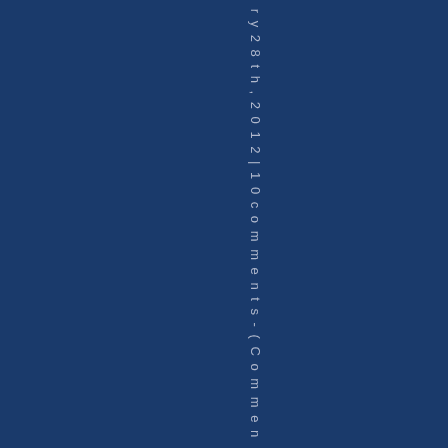ry 28th, 2012 | 10 comments - (Comments